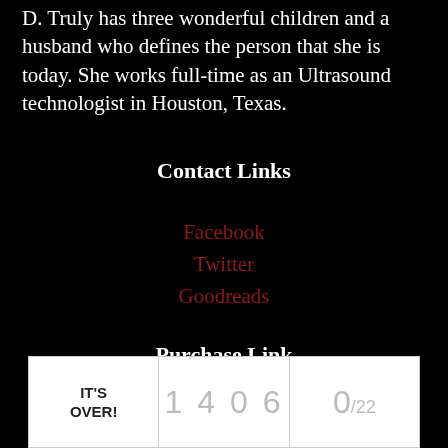D. Truly has three wonderful children and a husband who defines the person that she is today. She works full-time as an Ultrasound technologist in Houston, Texas.
Contact Links
Facebook
Twitter
Goodreads
Purchase Link
Amazon
| IT'S OVER! | 1406 | 0/22 |
| --- | --- | --- |